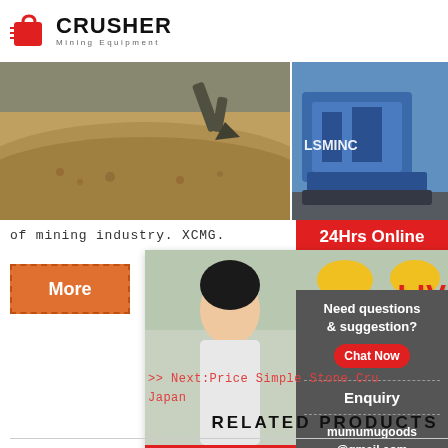[Figure (logo): Crusher Mining Equipment logo with red shopping bag icon and bold CRUSHER text]
[Figure (photo): Mining site with gravel/sand and heavy equipment]
[Figure (photo): Blue heavy mining/crushing machine with LSMINC branding]
of mining industry. XCMG.
[Figure (infographic): 24Hrs Online orange/red box in top right corner]
[Figure (infographic): More button in orange with dashed border]
[Figure (infographic): Live chat popup overlay with engineers photo, LIVE CHAT title, Click for a Free Consultation text, Chat now and Chat later buttons, support agent photo on right]
>> Next:Price Simple Stone Crusher Japan
[Figure (infographic): Right sidebar with Need questions & suggestion, Chat Now button, Enquiry section, mumumugoods@gmail.com email]
RELATED PRODUCTS